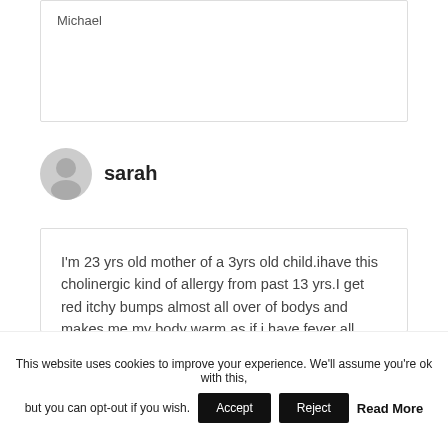Michael
[Figure (illustration): Gray circular user avatar icon for user sarah]
sarah
I'm 23 yrs old mother of a 3yrs old child.ihave this cholinergic kind of allergy from past 13 yrs.I get red itchy bumps almost all over of bodys and makes me my body warm as if i have fever all these happens when i get extreme
This website uses cookies to improve your experience. We'll assume you're ok with this, but you can opt-out if you wish. Accept Reject Read More